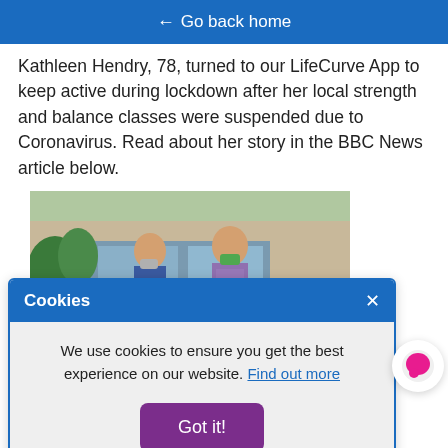← Go back home
Kathleen Hendry, 78, turned to our LifeCurve App to keep active during lockdown after her local strength and balance classes were suspended due to Coronavirus. Read about her story in the BBC News article below.
[Figure (photo): Two elderly women wearing face masks outdoors near a building, one in blue shirt and one in patterned blouse]
Cookies
We use cookies to ensure you get the best experience on our website. Find out more
Got it!
Mental health in later life